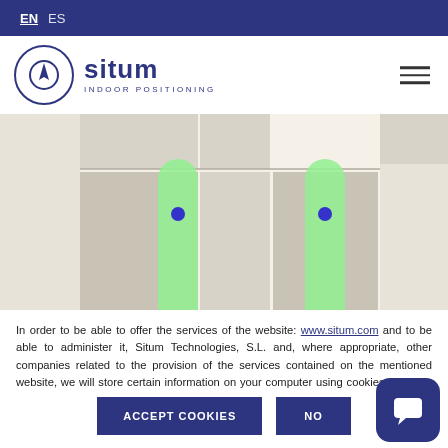EN  ES
[Figure (logo): Situm Indoor Positioning logo with compass icon]
[Figure (screenshot): Indoor map showing a floor plan with two green vertical path indicators and blue dot markers. A P2 label is visible at bottom left of the map area.]
In order to be able to offer the services of the website: www.situm.com and to be able to administer it, Situm Technologies, S.L. and, where appropriate, other companies related to the provision of the services contained on the mentioned website, we will store certain information on your computer using cookies. You can configure your browser, reject the use of cookies or and obtain more information by consulting our cookie police.
ACCEPT COOKIES    NO